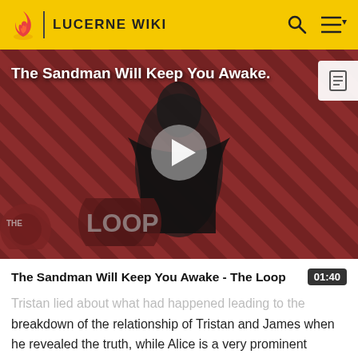LUCERNE WIKI
[Figure (screenshot): Video thumbnail for 'The Sandman Will Keep You Awake - The Loop' showing a figure in black against a dark red diagonal striped background with 'THE LOOP' text overlay and a play button in the center]
The Sandman Will Keep You Awake - The Loop
Tristan lied about what had happened leading to the breakdown of the relationship of Tristan and James when he revealed the truth, while Alice is a very prominent member of the Kingdom of Lucerne who through the